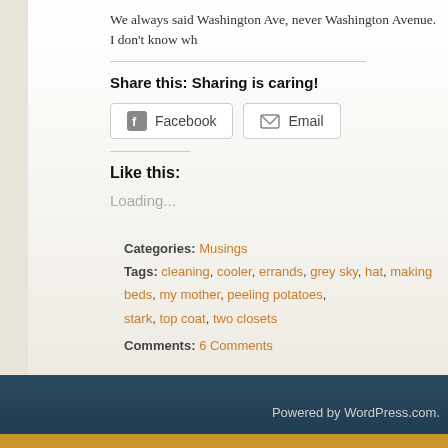We always said Washington Ave, never Washington Avenue. I don't know wh
Share this: Sharing is caring!
Facebook  Email
Like this:
Loading...
Categories: Musings
Tags: cleaning, cooler, errands, grey sky, hat, making beds, my mother, peeling potatoes, stark, top coat, two closets
Comments: 6 Comments
Powered by WordPress.com.